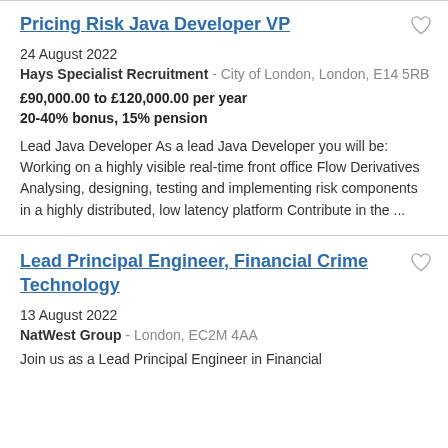Pricing Risk Java Developer VP
24 August 2022
Hays Specialist Recruitment - City of London, London, E14 5RB
£90,000.00 to £120,000.00 per year
20-40% bonus, 15% pension
Lead Java Developer As a lead Java Developer you will be: Working on a highly visible real-time front office Flow Derivatives Analysing, designing, testing and implementing risk components in a highly distributed, low latency platform Contribute in the ...
Lead Principal Engineer, Financial Crime Technology
13 August 2022
NatWest Group - London, EC2M 4AA
Join us as a Lead Principal Engineer in Financial